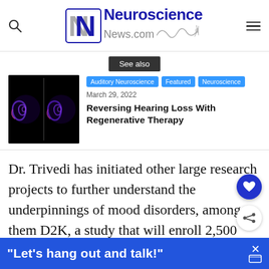[Figure (logo): Neuroscience News.com logo with NN icon and neuron illustration]
See also
[Figure (photo): Two side-by-side microscopy images showing blue/purple cochlea or inner ear structures on black background]
Auditory Neuroscience | Featured | Neuroscience
March 29, 2022
Reversing Hearing Loss With Regenerative Therapy
Dr. Trivedi has initiated other large research projects to further understand the underpinnings of mood disorders, among them D2K, a study that will enroll 2,500 patients wi...
"Let's hang out and talk!"